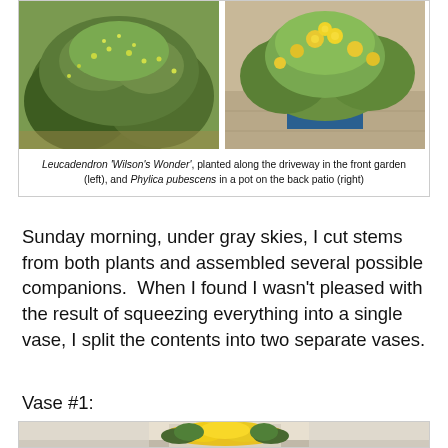[Figure (photo): Two photos side by side: left shows Leucadendron 'Wilson's Wonder' shrub planted along a driveway in a front garden with small yellow-green flowers; right shows Phylica pubescens in a blue pot on a back patio with yellow fluffy flowers.]
Leucadendron 'Wilson's Wonder', planted along the driveway in the front garden (left), and Phylica pubescens in a pot on the back patio (right)
Sunday morning, under gray skies, I cut stems from both plants and assembled several possible companions.  When I found I wasn't pleased with the result of squeezing everything into a single vase, I split the contents into two separate vases.
Vase #1:
[Figure (photo): Yellow flowers including what appear to be sunflowers or similar large yellow blooms arranged with green foliage in a vase, photographed indoors.]